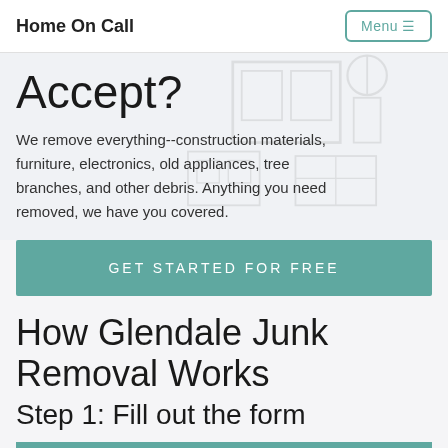Home On Call   Menu
Accept?
We remove everything--construction materials, furniture, electronics, old appliances, tree branches, and other debris. Anything you need removed, we have you covered.
GET STARTED FOR FREE
How Glendale Junk Removal Works
Step 1: Fill out the form